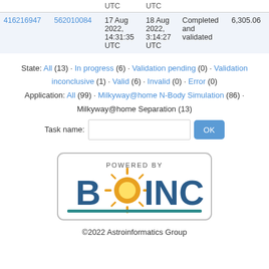|  |  | UTC | UTC |  |  |
| --- | --- | --- | --- | --- | --- |
| 416216947 | 562010084 | 17 Aug 2022, 14:31:35 UTC | 18 Aug 2022, 3:14:27 UTC | Completed and validated | 6,305.06 |
State: All (13) · In progress (6) · Validation pending (0) · Validation inconclusive (1) · Valid (6) · Invalid (0) · Error (0)
Application: All (99) · Milkyway@home N-Body Simulation (86) · Milkyway@home Separation (13)
Task name: [input] OK
[Figure (logo): Powered by BOINC logo with blue and teal styling]
©2022 Astroinformatics Group